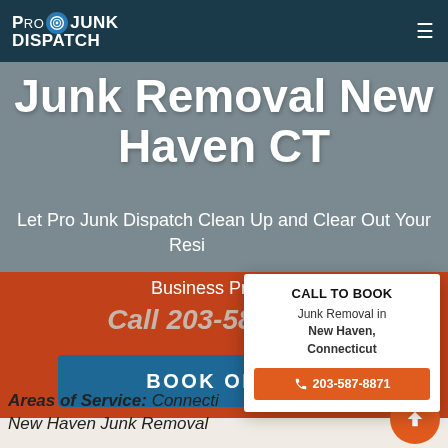[Figure (logo): Pro Junk Dispatch logo with target icon in top-left nav bar]
Junk Removal New Haven CT
Let Pro Junk Dispatch Clean Up and Clear Out Your Residential or Business Property
Call 203-587-8871
BOOK ONLINE
CALL TO BOOK Junk Removal in New Haven, Connecticut
203-587-8871
Areas of Service: Connecticut, New Haven Junk Removal